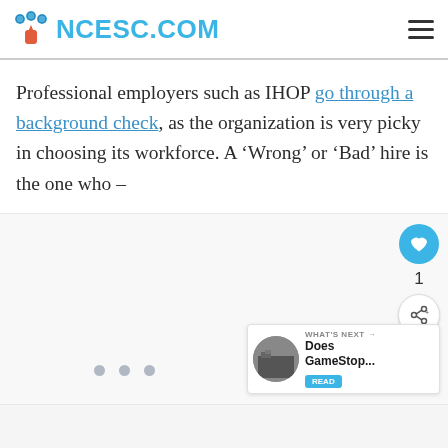NCESC.COM
Professional employers such as IHOP go through a background check, as the organization is very picky in choosing its workforce. A ‘Wrong’ or ‘Bad’ hire is the one who –
[Figure (other): Content placeholder area with pagination dots and action buttons (like count: 1, share button), and a 'What's Next' panel showing 'Does GameStop...']